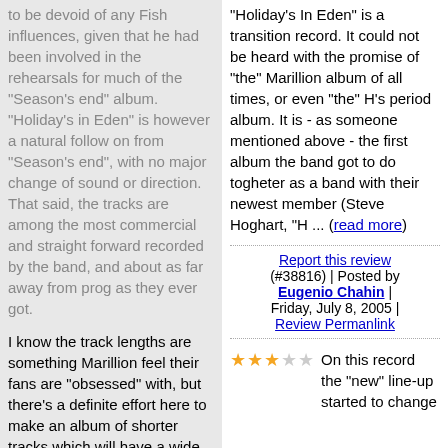to be devoid of any Fish influences, given that he had been involved in the rehearsals for much of the "Season's end" album. "Holiday's in Eden" is however a natural follow on from "Season's end", with no major change of sound or direction. That said, the tracks are among the most commercial and straight forward recorded by the band, and about as far away from prog as they ever got.
I know the track lengths are something Marillion feel their fans are "obsessed" with, but there's a definite effort here to make an album of shorter tracks which will have a wide commercial appeal. There's little in the way of instrumental breaks, time changes, structured works, etc.
The opening and closing tracks, "Splintering heart" and "100 nights" are the most adventurous, both being slow powerful pieces, with some decent guitar. "Cover my eyes" has echoes of
"Holiday's In Eden" is a transition record. It could not be heard with the promise of "the" Marillion album of all times, or even "the" H's period album. It is - as someone mentioned above - the first album the band got to do togheter as a band with their newest member (Steve Hoghart, "H ... (read more)
Report this review (#38816) | Posted by Eugenio Chahin | Friday, July 8, 2005 | Review Permanlink
On this record the "new" line-up started to change